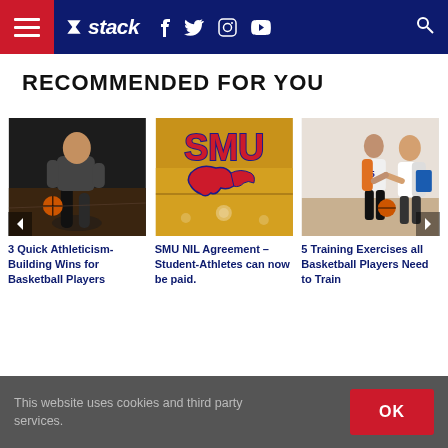stack - navigation bar with hamburger menu, logo, social icons, search
RECOMMENDED FOR YOU
[Figure (photo): Basketball player dribbling on a court, dark background]
3 Quick Athleticism-Building Wins for Basketball Players
[Figure (photo): SMU logo on a basketball court floor]
SMU NIL Agreement – Student-Athletes can now be paid.
[Figure (photo): Coach and female basketball player training in a gym]
5 Training Exercises all Basketball Players Need to Train
This website uses cookies and third party services.